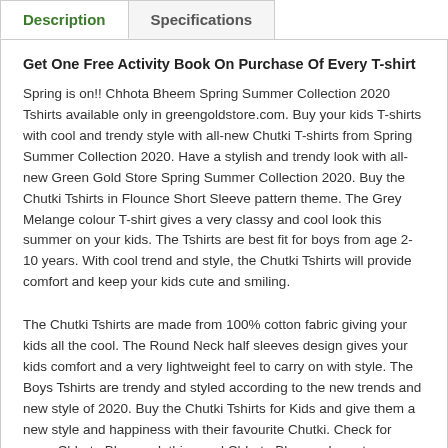Description | Specifications
Get One Free Activity Book On Purchase Of Every T-shirt
Spring is on!! Chhota Bheem Spring Summer Collection 2020 Tshirts available only in greengoldstore.com. Buy your kids T-shirts with cool and trendy style with all-new Chutki T-shirts from Spring Summer Collection 2020. Have a stylish and trendy look with all-new Green Gold Store Spring Summer Collection 2020. Buy the Chutki Tshirts in Flounce Short Sleeve pattern theme. The Grey Melange colour T-shirt gives a very classy and cool look this summer on your kids. The Tshirts are best fit for boys from age 2-10 years. With cool trend and style, the Chutki Tshirts will provide comfort and keep your kids cute and smiling.
The Chutki Tshirts are made from 100% cotton fabric giving your kids all the cool. The Round Neck half sleeves design gives your kids comfort and a very lightweight feel to carry on with style. The Boys Tshirts are trendy and styled according to the new trends and new style of 2020. Buy the Chutki Tshirts for Kids and give them a new style and happiness with their favourite Chutki. Check for more Chhota Bheem clothing and Chhota Bheem characters clothes and accessories for Kids.